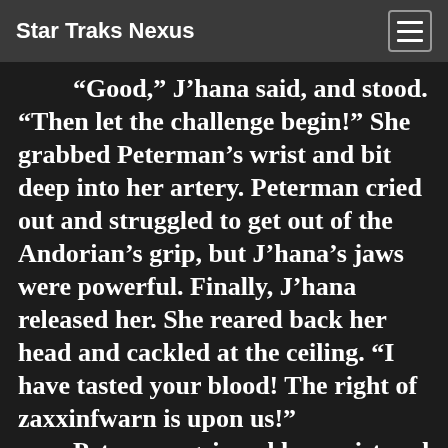Star Traks Nexus
“Good,” J’hana said, and stood. “Then let the challenge begin!” She grabbed Peterman’s wrist and bit deep into her artery. Peterman cried out and struggled to get out of the Andorian’s grip, but J’hana’s jaws were powerful. Finally, J’hana released her. She reared back her head and cackled at the ceiling. “I have tasted your blood! The right of zaxxinfwarn is upon us!”
    Peterman gripped her wrist and squeezed, watching, frazzled, as J’hana ran from the room, smashing